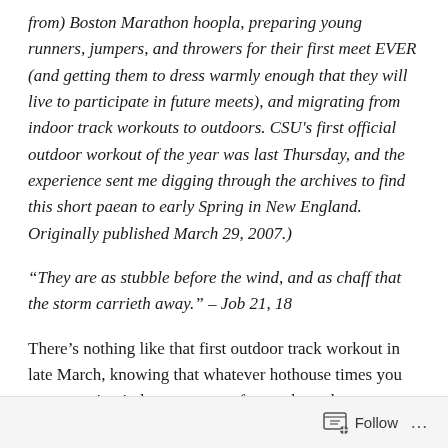from) Boston Marathon hoopla, preparing young runners, jumpers, and throwers for their first meet EVER (and getting them to dress warmly enough that they will live to participate in future meets), and migrating from indoor track workouts to outdoors. CSU's first official outdoor workout of the year was last Thursday, and the experience sent me digging through the archives to find this short paean to early Spring in New England. Originally published March 29, 2007.)
“They are as stubble before the wind, and as chaff that the storm carrieth away.” – Job 21, 18
There’s nothing like that first outdoor track workout in late March, knowing that whatever hothouse times you were running indoors, you can forget about them now. The track
Follow